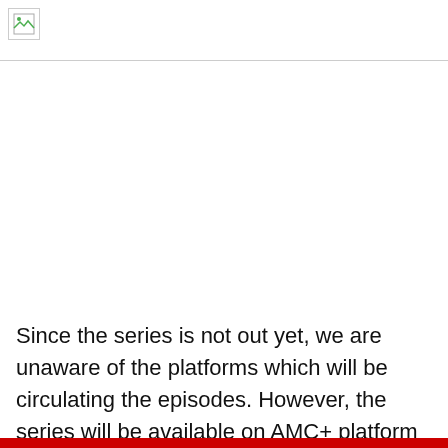[Figure (other): Broken/unloaded image placeholder in top-left corner of page header area]
Since the series is not out yet, we are unaware of the platforms which will be circulating the episodes. However, the series will be available on AMC+ platform for sure as it is an original. Tune in to their channel to enjoy the series